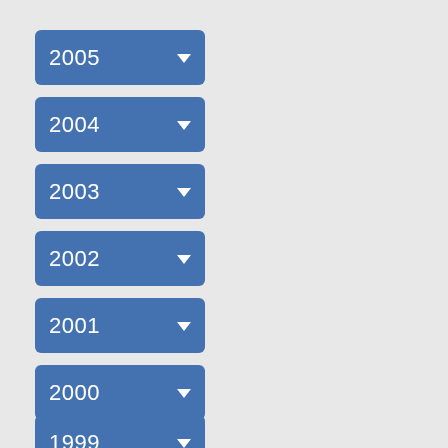[Figure (screenshot): Dropdown button labeled 2005]
[Figure (screenshot): Dropdown button labeled 2004]
[Figure (screenshot): Dropdown button labeled 2003]
[Figure (screenshot): Dropdown button labeled 2002]
[Figure (screenshot): Dropdown button labeled 2001]
[Figure (screenshot): Dropdown button labeled 2000]
[Figure (screenshot): Dropdown button labeled 1999]